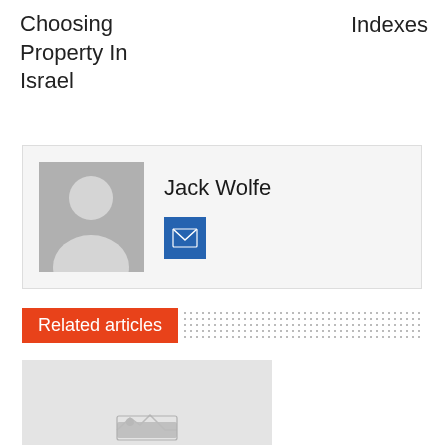Choosing Property In Israel
Indexes
[Figure (other): Author profile card showing avatar placeholder image, name 'Jack Wolfe', and email button]
Related articles
[Figure (photo): Placeholder image with image icon at bottom center]